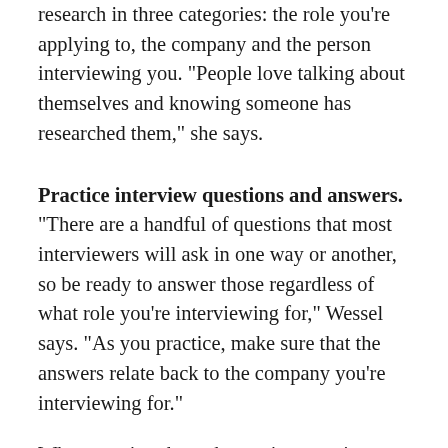research in three categories: the role you're applying to, the company and the person interviewing you. "People love talking about themselves and knowing someone has researched them," she says.
Practice interview questions and answers. "There are a handful of questions that most interviewers will ask in one way or another, so be ready to answer those regardless of what role you're interviewing for," Wessel says. "As you practice, make sure that the answers relate back to the company you're interviewing for."
When running through practice questions,